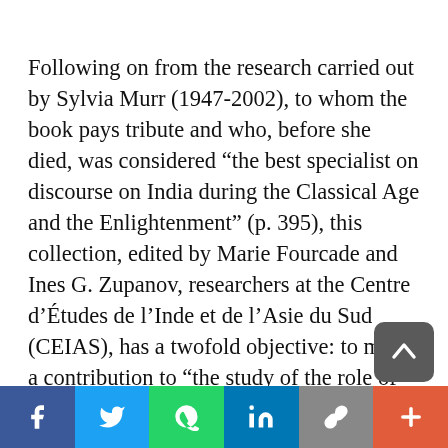Following on from the research carried out by Sylvia Murr (1947–2002), to whom the book pays tribute and who, before she died, was considered “the best specialist on discourse on India during the Classical Age and the Enlightenment” (p. 395), this collection, edited by Marie Fourcade and Ines G. Zupanov, researchers at the Centre d’Études de l’Inde et de l’Asie du Sud (CEIAS), has a twofold objective: to make a contribution to “the study of the role of South Asia in Enlightenment Europe and